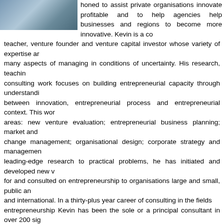[Figure (photo): Portrait photo of Kevin (partially visible at top)]
honed to assist private organisations innovate profitably and to help agencies help businesses and regions to become more innovative. Kevin is a consultant, teacher, venture founder and venture capital investor whose variety of expertise arises from many aspects of managing in conditions of uncertainty. His research, teaching and consulting work focuses on building entrepreneurial capacity through understanding links between innovation, entrepreneurial process and entrepreneurial context. This work includes areas: new venture evaluation; entrepreneurial business planning; market and technology change management; organisational design; corporate strategy and management. Applying leading-edge research to practical problems, he has initiated and developed new ventures, taught for and consulted on entrepreneurship to organisations large and small, public and private, local and international. In a thirty-plus year career of consulting in the fields of innovation and entrepreneurship Kevin has been the sole or a principal consultant in over 200 significant projects for major clients. Some of these projects are illustrated on this site.
Kevin's consultancy is grounded in a long career as a management educator. He has developed curricula and taught courses in entrepreneurship and associated disciplines in a range of degree and executive development programs throughout the world. He was the founding director of the Master of Entrepreneurship and Innovation Degree at Swinburne University, where he taught for many years, writing the initial version and many subsequent versions of ten of the twelve subjects comprising that degree. He later headed the Centre for Entrepreneurship Innovation and Change at Deakin University. Some of the many organisations for whom he has taught and held adjunct professorships include: the Helsinki School of Economics and Business Administration, Rice University (Texas), INSEAD (Fontainebleau, France), the University of St. Gallen